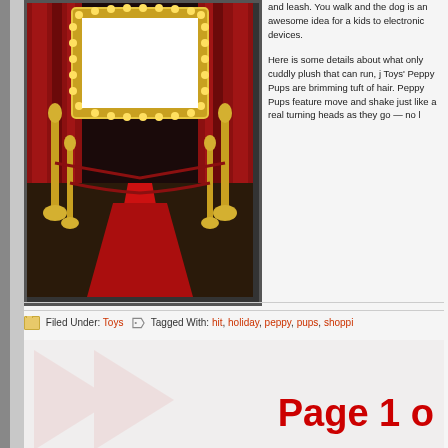[Figure (photo): Red carpet scene with gold ornate frame, velvet ropes, and theatrical curtains]
and leash. You walk and the dog is an awesome idea for a kids to electronic devices.
Here is some details about what only cuddly plush that can run, j Toys' Peppy Pups are brimming tuft of hair. Peppy Pups feature move and shake just like a real turning heads as they go — no l
Filed Under: Toys  Tagged With: hit, holiday, peppy, pups, shoppi
Page 1 o